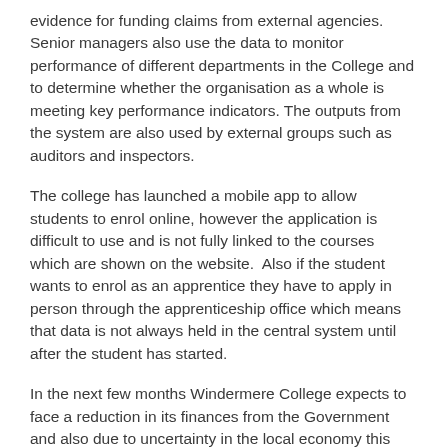evidence for funding claims from external agencies. Senior managers also use the data to monitor performance of different departments in the College and to determine whether the organisation as a whole is meeting key performance indicators. The outputs from the system are also used by external groups such as auditors and inspectors.
The college has launched a mobile app to allow students to enrol online, however the application is difficult to use and is not fully linked to the courses which are shown on the website.  Also if the student wants to enrol as an apprentice they have to apply in person through the apprenticeship office which means that data is not always held in the central system until after the student has started.
In the next few months Windermere College expects to face a reduction in its finances from the Government and also due to uncertainty in the local economy this reduction will not be compensated through an increase in fees for full cost courses. Indeed the staff in the college have been told that some cost cutting measures will need to be introduced for aspects of the college operation.